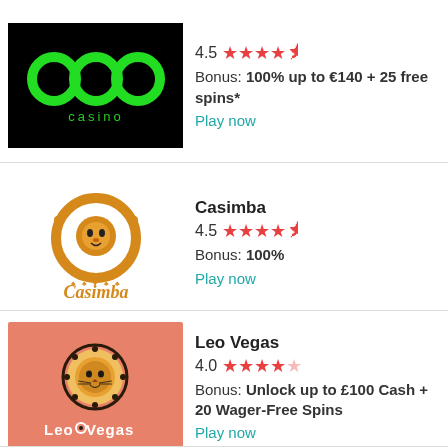[Figure (logo): 888 Casino logo - black background with green 888 text and 'casino' text below]
4.5 ★★★★½
Bonus: 100% up to €140 + 25 free spins*
Play now
[Figure (logo): Casimba casino logo - orange lion chip mascot with Casimba cursive text]
Casimba
4.5 ★★★★½
Bonus: 100%
Play now
[Figure (logo): LeoVegas logo - salmon/orange background with lion circle emblem and LeoVegas text]
Leo Vegas
4.0 ★★★★☆
Bonus: Unlock up to £100 Cash + 20 Wager-Free Spins
Play now
PlayAmo Casino